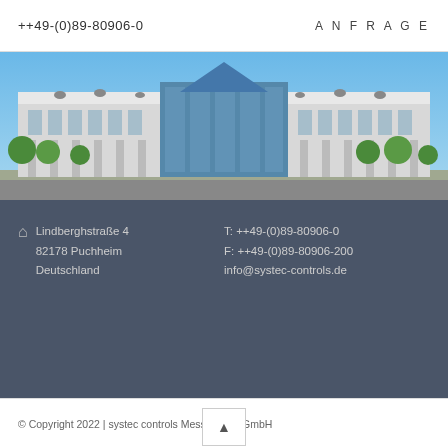++49-(0)89-80906-0   ANFRAGE
[Figure (photo): Exterior photo of systec controls Messtechnik GmbH building — a modern multi-storey commercial/industrial facility with glass facade, surrounded by trees, under a blue sky]
Lindberghstraße 4
82178 Puchheim
Deutschland
T: ++49-(0)89-80906-0
F: ++49-(0)89-80906-200
info@systec-controls.de
Imprint
Data protection
© Copyright 2022 | systec controls Messtechnik GmbH